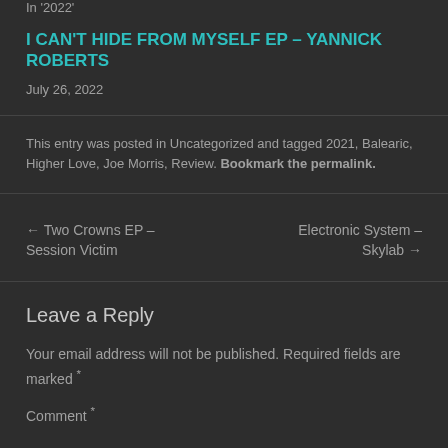In '2022'
I CAN'T HIDE FROM MYSELF EP – YANNICK ROBERTS
July 26, 2022
This entry was posted in Uncategorized and tagged 2021, Balearic, Higher Love, Joe Morris, Review. Bookmark the permalink.
← Two Crowns EP – Session Victim
Electronic System – Skylab →
Leave a Reply
Your email address will not be published. Required fields are marked *
Comment *